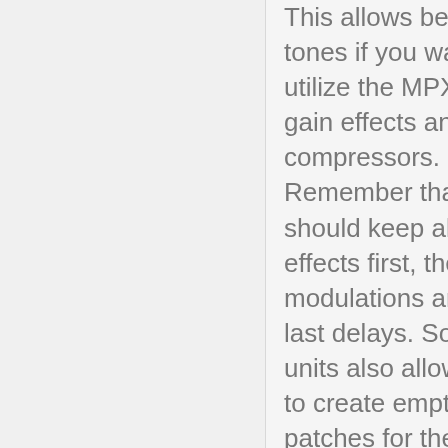This allows better tones if you want to utilize the MPX's gain effects and compressors. Remember that you should keep all gain effects first, then modulations and last delays. Some units also allow you to create empty patches for the send/return effects and this way you can place the internal compressor in front of the pedals that are